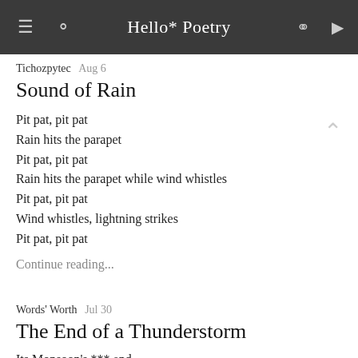Hello* Poetry
Tichozpytec  Aug 6
Sound of Rain
Pit pat, pit pat
Rain hits the parapet
Pit pat, pit pat
Rain hits the parapet while wind whistles
Pit pat, pit pat
Wind whistles, lightning strikes
Pit pat, pit pat
Continue reading...
Words' Worth  Jul 30
The End of a Thunderstorm
Its Monsoon's *** end